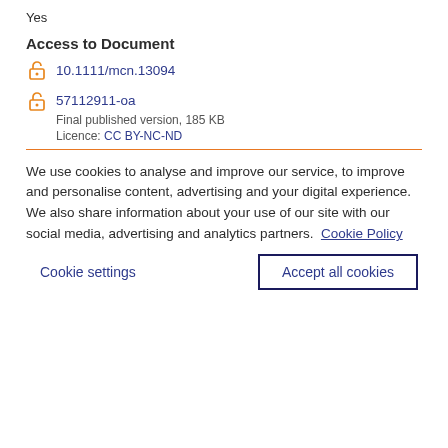Yes
Access to Document
10.1111/mcn.13094
57112911-oa
Final published version, 185 KB
Licence: CC BY-NC-ND
We use cookies to analyse and improve our service, to improve and personalise content, advertising and your digital experience. We also share information about your use of our site with our social media, advertising and analytics partners.  Cookie Policy
Cookie settings
Accept all cookies